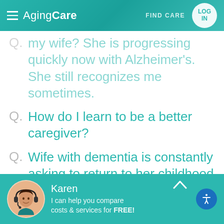[Figure (screenshot): AgingCare website header with hamburger menu, logo, FIND CARE link, and LOG IN button on teal gradient background]
my wife? She is progressing quickly now with Alzheimer's. She still recognizes me sometimes.
Q. How do I learn to be a better caregiver?
Q. Wife with dementia is constantly asking to return to her childhood home where she moved from over 60 years ago. Any advice?
[Figure (photo): Chat widget with Karen avatar, text: I can help you compare costs & services for FREE!]